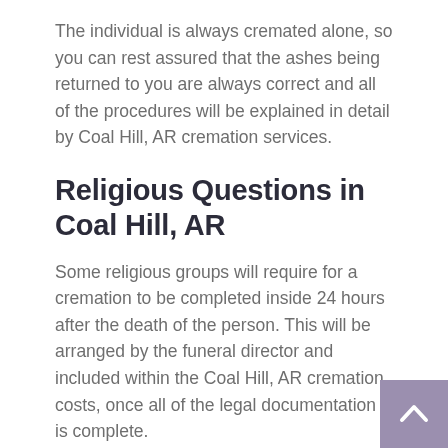The individual is always cremated alone, so you can rest assured that the ashes being returned to you are always correct and all of the procedures will be explained in detail by Coal Hill, AR cremation services.
Religious Questions in Coal Hill, AR
Some religious groups will require for a cremation to be completed inside 24 hours after the death of the person. This will be arranged by the funeral director and included within the Coal Hill, AR cremation costs, once all of the legal documentation is complete.
Where the individual was particularly religious, the funeral director will liaise with the appropriate clergy and a funeral service may be conducted within the proper church or in the private chapel